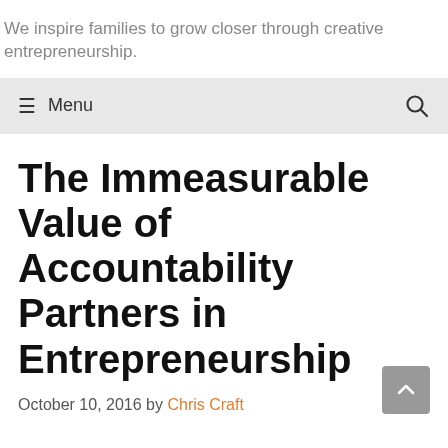We inspire families to grow closer through creative entrepreneurship.
≡ Menu
The Immeasurable Value of Accountability Partners in Entrepreneurship
October 10, 2016 by Chris Craft